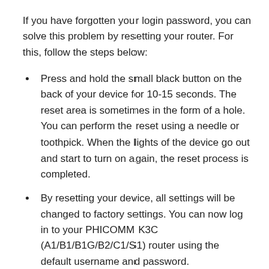If you have forgotten your login password, you can solve this problem by resetting your router. For this, follow the steps below:
Press and hold the small black button on the back of your device for 10-15 seconds. The reset area is sometimes in the form of a hole. You can perform the reset using a needle or toothpick. When the lights of the device go out and start to turn on again, the reset process is completed.
By resetting your device, all settings will be changed to factory settings. You can now log in to your PHICOMM K3C (A1/B1/B1G/B2/C1/S1) router using the default username and password.
You can't reach the PHICOMM K3C (A1/B1/B1G/B2/C1/S1) login page? Check the possibilities below: